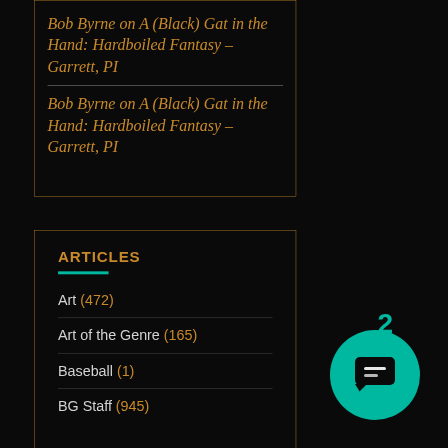Bob Byrne on A (Black) Gat in the Hand: Hardboiled Fantasy – Garrett, PI
Bob Byrne on A (Black) Gat in the Hand: Hardboiled Fantasy – Garrett, PI
ARTICLES
Art (472)
Art of the Genre (165)
Baseball (1)
BG Staff (945)